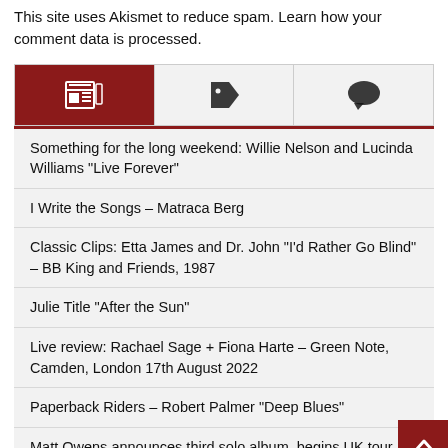This site uses Akismet to reduce spam. Learn how your comment data is processed.
[Figure (other): Navigation tab bar with three icons: newspaper/article icon (active, dark red background), tag icon, and speech bubble/comment icon on a light grey background. A dark red underline bar spans the full width beneath.]
Something for the long weekend: Willie Nelson and Lucinda Williams “Live Forever”
I Write the Songs – Matraca Berg
Classic Clips: Etta James and Dr. John “I’d Rather Go Blind” – BB King and Friends, 1987
Julie Title “After the Sun”
Live review: Rachael Sage + Fiona Harte – Green Note, Camden, London 17th August 2022
Paperback Riders – Robert Palmer “Deep Blues”
Matt Owens announces third solo album, begins UK tour